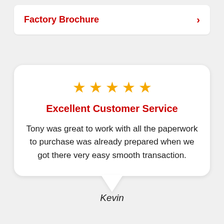Factory Brochure >
Excellent Customer Service
Tony was great to work with all the paperwork to purchase was already prepared when we got there very easy smooth transaction.
Kevin